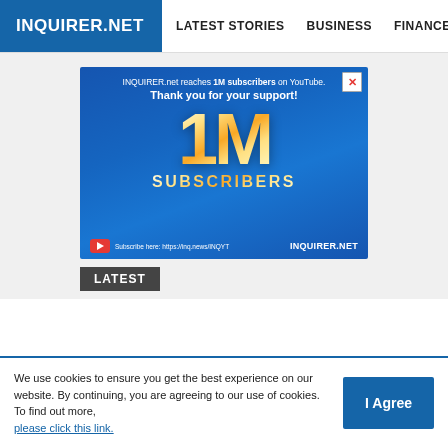INQUIRER.NET  LATEST STORIES  BUSINESS  FINANCE  TECHNOLO
[Figure (infographic): Advertisement banner for INQUIRER.net YouTube milestone. Blue background with large gold '1M' text and 'SUBSCRIBERS' below. Text reads: 'INQUIRER.net reaches 1M subscribers on YouTube. Thank you for your support!' Footer shows YouTube subscribe link and INQUIRER.NET branding. Close button (X) in top right corner.]
LATEST
We use cookies to ensure you get the best experience on our website. By continuing, you are agreeing to our use of cookies. To find out more, please click this link.